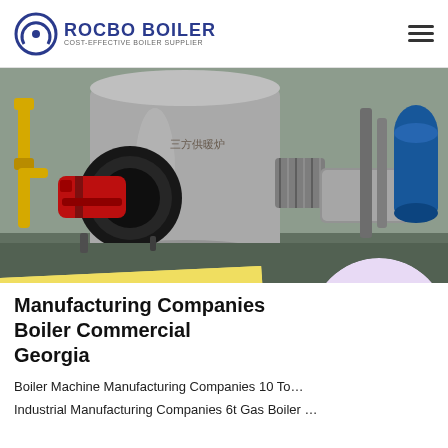ROCBO BOILER — COST-EFFECTIVE BOILER SUPPLIER
[Figure (photo): Industrial gas boiler in a manufacturing facility with yellow pipes, red burner, stainless steel shell, and flexible coupling. A '10% DISCOUNT' badge is overlaid in the lower-right area of the image.]
Manufacturing Companies Boiler Commercial Georgia
Boiler Machine Manufacturing Companies 10 To…
Industrial Manufacturing Companies 6t Gas Boiler …